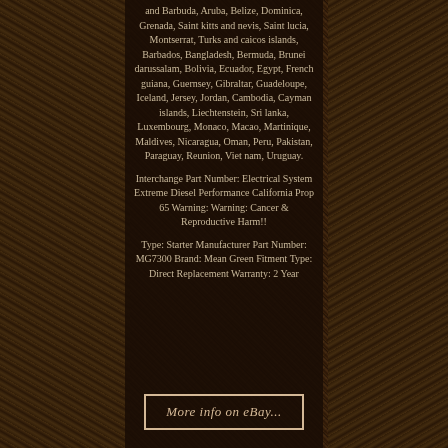and Barbuda, Aruba, Belize, Dominica, Grenada, Saint kitts and nevis, Saint lucia, Montserrat, Turks and caicos islands, Barbados, Bangladesh, Bermuda, Brunei darussalam, Bolivia, Ecuador, Egypt, French guiana, Guernsey, Gibraltar, Guadeloupe, Iceland, Jersey, Jordan, Cambodia, Cayman islands, Liechtenstein, Sri lanka, Luxembourg, Monaco, Macao, Martinique, Maldives, Nicaragua, Oman, Peru, Pakistan, Paraguay, Reunion, Viet nam, Uruguay.
Interchange Part Number: Electrical System Extreme Diesel Performance California Prop 65 Warning: Warning: Cancer & Reproductive Harm!!
Type: Starter Manufacturer Part Number: MG7300 Brand: Mean Green Fitment Type: Direct Replacement Warranty: 2 Year
More info on eBay...